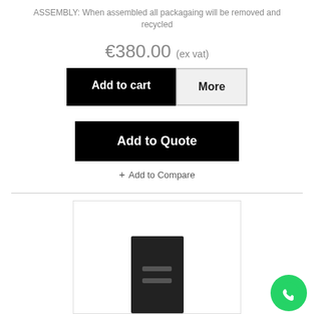ASSEMBLY: When assembled all packagaing will be removed and recycled
€380.00 (ex vat)
Add to cart
More
Add to Quote
+ Add to Compare
[Figure (photo): Black metal filing cabinet with two drawers and handles, shown inside a white bordered product image box. A WhatsApp phone icon button appears in the bottom-right corner.]